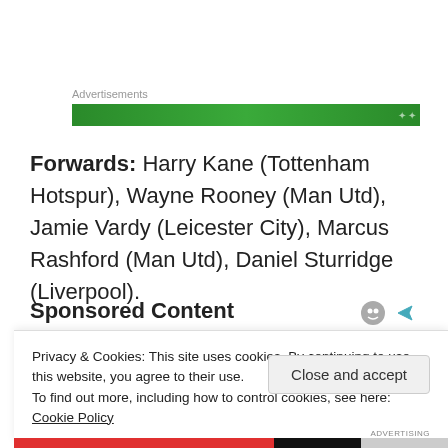[Figure (other): Green advertisement banner with sparkle/star decorations]
Forwards: Harry Kane (Tottenham Hotspur), Wayne Rooney (Man Utd), Jamie Vardy (Leicester City), Marcus Rashford (Man Utd), Daniel Sturridge (Liverpool).
Sponsored Content
[Figure (photo): Partial photo of a blonde woman, partially obscured by cookie banner]
Privacy & Cookies: This site uses cookies. By continuing to use this website, you agree to their use.
To find out more, including how to control cookies, see here: Cookie Policy
Close and accept